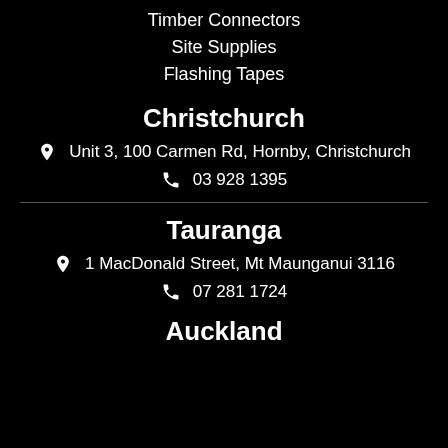Timber Connectors
Site Supplies
Flashing Tapes
Christchurch
Unit 3, 100 Carmen Rd, Hornby, Christchurch
03 928 1395
Tauranga
1 MacDonald Street, Mt Maunganui 3116
07 281 1724
Auckland